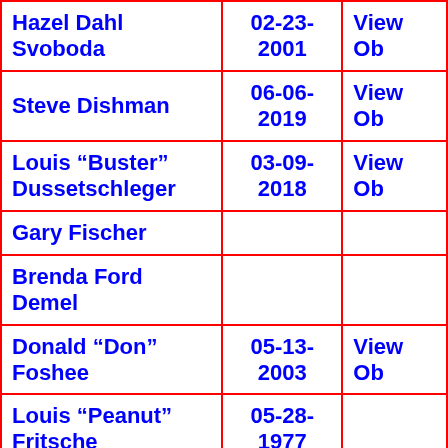| Name | Date | Action |
| --- | --- | --- |
| Hazel Dahl Svoboda | 02-23-2001 | View Ob |
| Steve Dishman | 06-06-2019 | View Ob |
| Louis "Buster" Dussetschleger | 03-09-2018 | View Ob |
| Gary Fischer |  |  |
| Brenda Ford Demel |  |  |
| Donald "Don" Foshee | 05-13-2003 | View Ob |
| Louis "Peanut" Fritsche | 05-28-1977 |  |
| Floyd Francis |  |  |
| Gail Glindmyer Beall | 06-00-2003 |  |